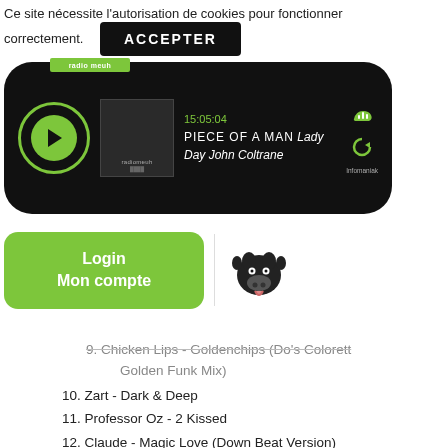Ce site nécessite l'autorisation de cookies pour fonctionner correctement.
[Figure (screenshot): Cookie consent banner with ACCEPTER button]
[Figure (screenshot): Radio Meuh player widget showing 15:05:04, PIECE OF A MAN Lady Day John Coltrane, with play button, album art, like and replay icons, and Infomaniak branding]
[Figure (screenshot): Login / Mon compte green button with cow logo divider]
9. Chicken Lips - Goldenchips (Do's Colorett Golden Funk Mix)
10. Zart - Dark & Deep
11. Professor Oz - 2 Kissed
12. Claude - Magic Love (Down Beat Version)
13. Rocla's - Change Your Mind